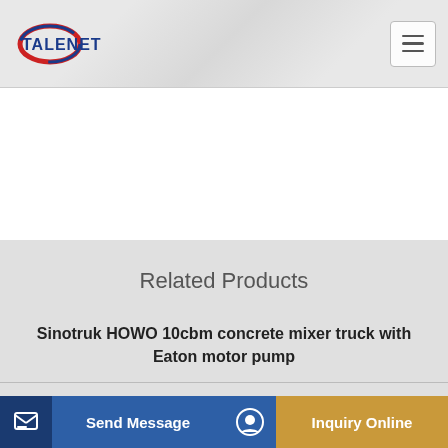TALENET
Related Products
Sinotruk HOWO 10cbm concrete mixer truck with Eaton motor pump
Daswell Concrete Line Pump Truck Hydraulic systems Trucks
5425-318 Eaton Hydraulic Variable Piston Pump For Concrete Mixer